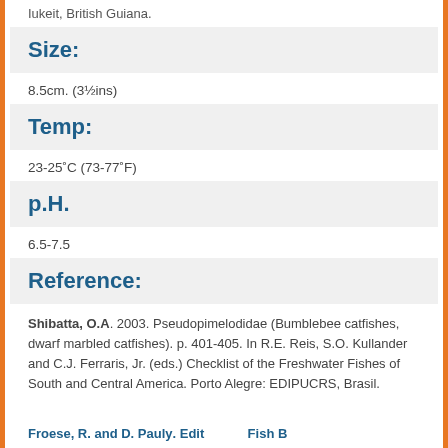Iukeit, British Guiana.
Size:
8.5cm. (3½ins)
Temp:
23-25˚C (73-77˚F)
p.H.
6.5-7.5
Reference:
Shibatta, O.A. 2003. Pseudopimelodidae (Bumblebee catfishes, dwarf marbled catfishes). p. 401-405. In R.E. Reis, S.O. Kullander and C.J. Ferraris, Jr. (eds.) Checklist of the Freshwater Fishes of South and Central America. Porto Alegre: EDIPUCRS, Brasil.
Froese, R. and D. Pauly. Editors. FishB...